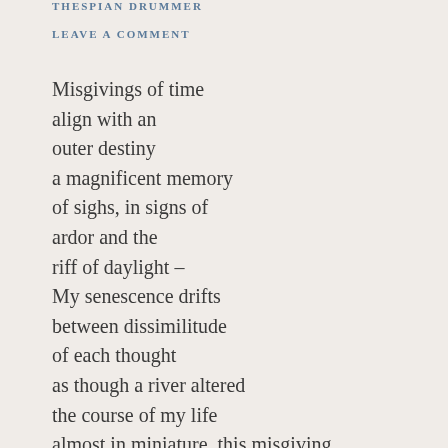THESPIAN DRUMMER
LEAVE A COMMENT
Misgivings of time
align with an
outer destiny
a magnificent memory
of sighs, in signs of
ardor and the
riff of daylight –
My senescence drifts
between dissimilitude
of each thought
as though a river altered
the course of my life
almost in miniature, this misgiving,
as if such a fray and
fury allows for my love